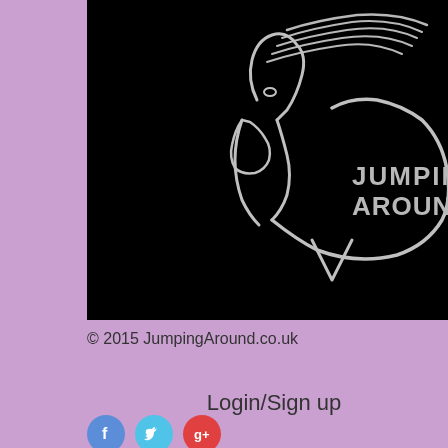[Figure (logo): Jumping Around logo on black background — silhouette of a horse's head with flowing mane and an oval arc, with text 'JUMPING AROUND' in silver/grey metallic lettering]
© 2015 JumpingAround.co.uk
Login/Sign up
[Figure (illustration): Three social media icon buttons: Facebook (blue circle with f), Twitter (light blue circle with bird), Google+ (red circle with g+)]